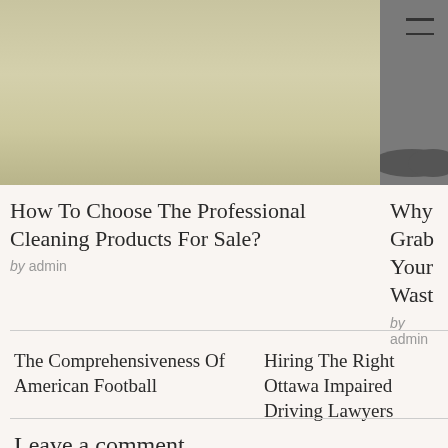[Figure (photo): Photo of a room with light beige/yellow wall visible at the bottom portion, cropped]
[Figure (photo): Partial photo showing what appears to be wheels or tires on pavement]
How To Choose The Professional Cleaning Products For Sale?
by admin
Why Grab Your Wast
by admin
The Comprehensiveness Of American Football
Hiring The Right Ottawa Impaired Driving Lawyers
Leave a comment
You must be logged in to post a comment.